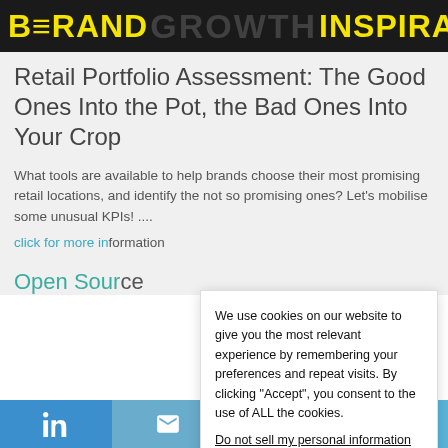BRAND GROWTH INSPIRATION
Retail Portfolio Assessment: The Good Ones Into the Pot, the Bad Ones Into Your Crop
What tools are available to help brands choose their most promising retail locations, and identify the not so promising ones? Let’s mobilise some unusual KPIs! ....
click for more information
Open Source
We use cookies on our website to give you the most relevant experience by remembering your preferences and repeat visits. By clicking “Accept”, you consent to the use of ALL the cookies.
Do not sell my personal information.
LinkedIn | Email | WhatsApp | Twitter